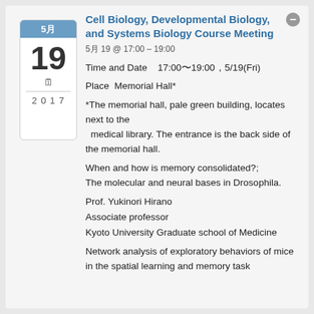[Figure (other): Calendar widget showing month 5月, day 19, icon, year 2017]
Cell Biology, Developmental Biology, and Systems Biology Course Meeting
5月 19 @ 17:00 – 19:00
Time and Date    17:00〜19:00，5/19(Fri)
Place  Memorial Hall*
*The memorial hall, pale green building, locates next to the   medical library. The entrance is the back side of the memorial hall.
When and how is memory consolidated?; The molecular and neural bases in Drosophila.
Prof. Yukinori Hirano
Associate professor
Kyoto University Graduate school of Medicine
Network analysis of exploratory behaviors of mice in the spatial learning and memory task